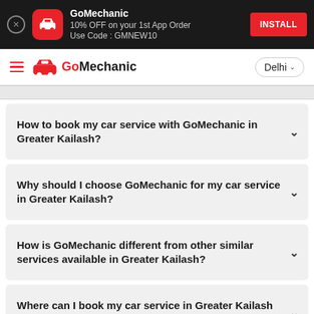[Figure (screenshot): GoMechanic app install banner with red icon, dismiss button, promotional text and INSTALL button]
[Figure (screenshot): GoMechanic navigation bar with hamburger menu, logo, and Delhi city selector]
How to book my car service with GoMechanic in Greater Kailash?
Why should I choose GoMechanic for my car service in Greater Kailash?
How is GoMechanic different from other similar services available in Greater Kailash?
Where can I book my car service in Greater Kailash with GoMechanic?